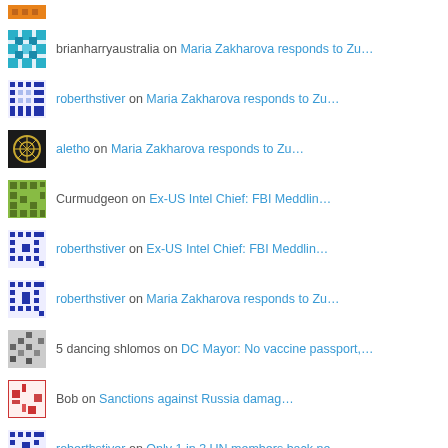brianharryaustralia on Maria Zakharova responds to Zu…
roberthstiver on Maria Zakharova responds to Zu…
aletho on Maria Zakharova responds to Zu…
Curmudgeon on Ex-US Intel Chief: FBI Meddlin…
roberthstiver on Ex-US Intel Chief: FBI Meddlin…
roberthstiver on Maria Zakharova responds to Zu…
5 dancing shlomos on DC Mayor: No vaccine passport,…
Bob on Sanctions against Russia damag…
roberthstiver on Only 1 in 3 UN members back ne…